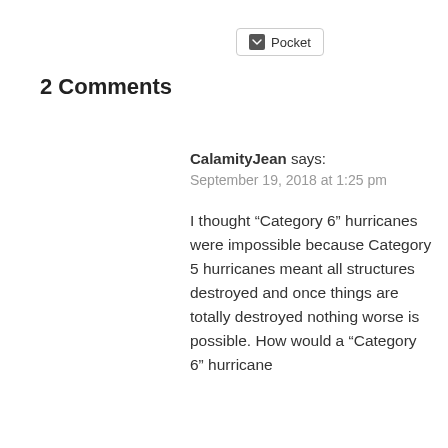[Figure (other): Pocket save button with pocket logo icon]
2 Comments
CalamityJean says:
September 19, 2018 at 1:25 pm
I thought “Category 6” hurricanes were impossible because Category 5 hurricanes meant all structures destroyed and once things are totally destroyed nothing worse is possible. How would a “Category 6” hurricane